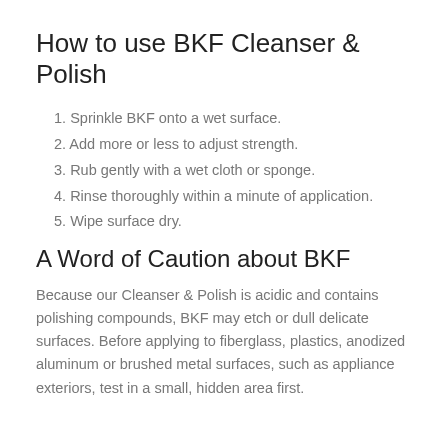How to use BKF Cleanser & Polish
Sprinkle BKF onto a wet surface.
Add more or less to adjust strength.
Rub gently with a wet cloth or sponge.
Rinse thoroughly within a minute of application.
Wipe surface dry.
A Word of Caution about BKF
Because our Cleanser & Polish is acidic and contains polishing compounds, BKF may etch or dull delicate surfaces. Before applying to fiberglass, plastics, anodized aluminum or brushed metal surfaces, such as appliance exteriors, test in a small, hidden area first.